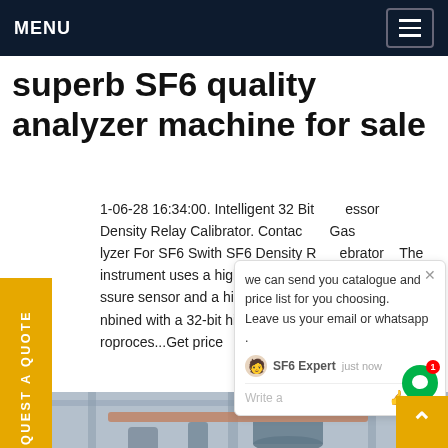MENU
superb SF6 quality analyzer machine for sale
1-06-28 16:34:00. Intelligent 32 Bit essor Density Relay Calibrator. Contact Gas lyzer For SF6 Swith SF6 Density R brator The instrument uses a high-ssure sensor and a high-spe ter, nbined with a 32-bit high-perfor roproces...Get price
[Figure (photo): Industrial equipment/machinery photo, showing pipes and industrial machinery in a factory setting]
we can send you catalogue and price list for you choosing. Leave us your email or whatsapp .
SF6 Expert  just now
Write a
REQUEST A QUOTE